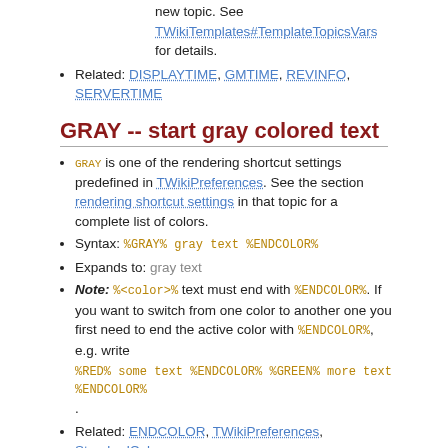new topic. See TWikiTemplates#TemplateTopicsVars for details.
Related: DISPLAYTIME, GMTIME, REVINFO, SERVERTIME
GRAY -- start gray colored text
GRAY is one of the rendering shortcut settings predefined in TWikiPreferences. See the section rendering shortcut settings in that topic for a complete list of colors.
Syntax: %GRAY% gray text %ENDCOLOR%
Expands to: gray text
Note: %<color>% text must end with %ENDCOLOR%. If you want to switch from one color to another one you first need to end the active color with %ENDCOLOR%, e.g. write %RED% some text %ENDCOLOR% %GREEN% more text %ENDCOLOR%.
Related: ENDCOLOR, TWikiPreferences, StandardColors
GREEN -- start green colored text